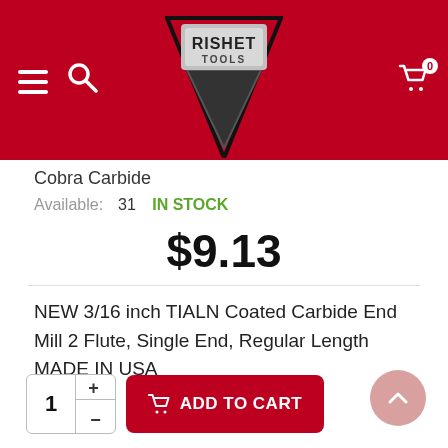[Figure (logo): Rishet Tools logo — a downward-pointing triangle in red/black with 'RISHET TOOLS' text, set in a website navigation header bar with hamburger menu, search icon, and shopping cart icon.]
Cobra Carbide
Available:  31 IN STOCK
$9.13
NEW 3/16 inch TIALN Coated Carbide End Mill 2 Flute, Single End, Regular Length MADE IN USA
1  +  −  ADD TO CART